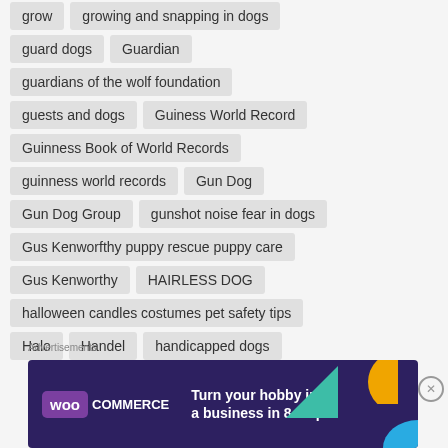grow
growing and snapping in dogs
guard dogs
Guardian
guardians of the wolf foundation
guests and dogs
Guiness World Record
Guinness Book of World Records
guinness world records
Gun Dog
Gun Dog Group
gunshot noise fear in dogs
Gus Kenworfthy puppy rescue puppy care
Gus Kenworthy
HAIRLESS DOG
halloween candles costumes pet safety tips
Halo
Handel
handicapped dogs
Advertisements
[Figure (screenshot): WooCommerce advertisement banner: dark purple background with teal and orange shapes, WooCommerce logo, text 'Turn your hobby into a business in 8 steps']